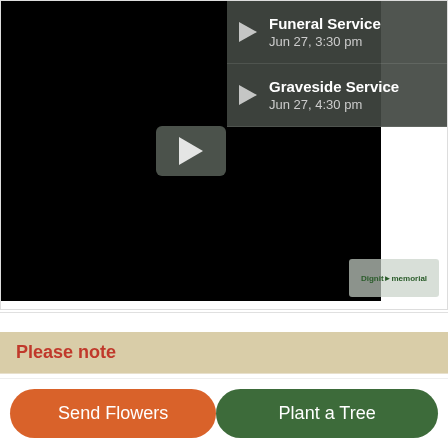[Figure (screenshot): Video player showing a funeral livestream interface with a black video area containing a play button, and a playlist panel on the right showing 'Funeral Service Jun 27, 3:30 pm' and 'Graveside Service Jun 27, 4:30 pm' with play icons, and a Dignity Memorial logo watermark]
Please note
Please note, due to slow wifi and slow mobile network speeds at the church, viewers of the livestream may experience buffering or an error. The service will be available online ater the funeral for delayed viewing; the service will remain online for 90 days following service.
Send Flowers
Plant a Tree